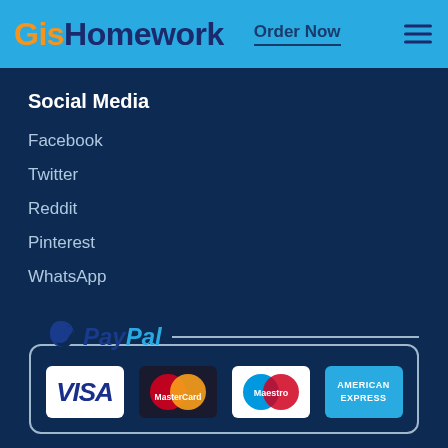GisHomework — Order Now
Social Media
Facebook
Twitter
Reddit
Pinterest
WhatsApp
[Figure (logo): PayPal logo with VISA, MasterCard, Maestro, and American Express payment method logos inside a rounded rectangle border]